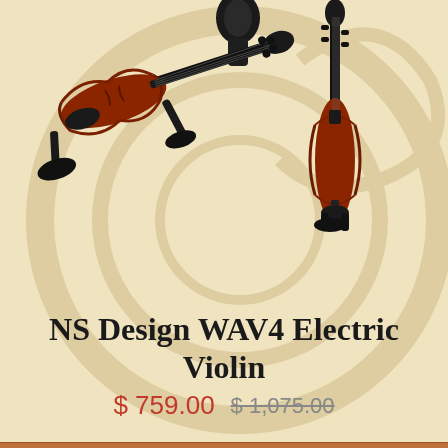[Figure (photo): Two NS Design WAV4 Electric Violins in dark red/amber color shown against a warm beige background with decorative violin scroll watermark. One violin is shown horizontally (tilted) on the left, and one is shown vertically on the right. A violin scroll is partially visible at the top center.]
NS Design WAV4 Electric Violin
$ 759.00  $ 1,075.00